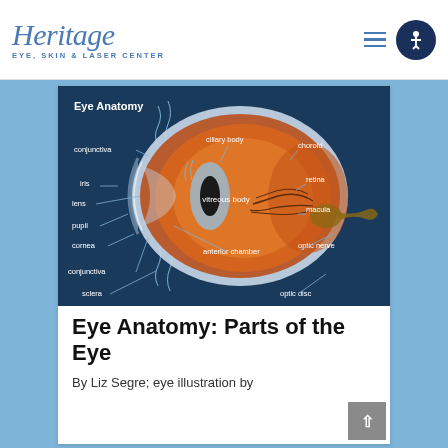Heritage Eye, Skin & Laser Center
[Figure (illustration): Anatomical cross-section diagram of the human eye labeled 'Eye Anatomy' on a dark blue background. Labels include: conjunctiva (top-left and bottom-left), iris, lens, pupil, cornea, sclera, ciliary body, vitreous body, anterior chamber, choroid, retina, macula, optic nerve, optic disc.]
Eye Anatomy: Parts of the Eye
By Liz Segre; eye illustration by